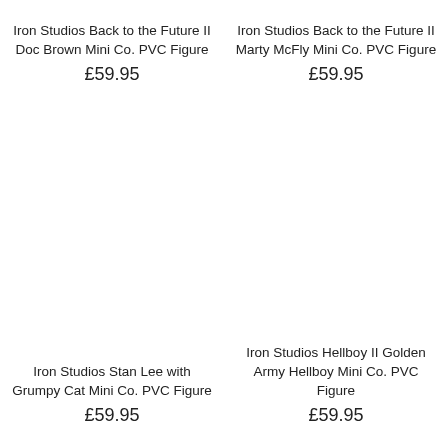Iron Studios Back to the Future II Doc Brown Mini Co. PVC Figure
£59.95
Iron Studios Back to the Future II Marty McFly Mini Co. PVC Figure
£59.95
Iron Studios Stan Lee with Grumpy Cat Mini Co. PVC Figure
£59.95
Iron Studios Hellboy II Golden Army Hellboy Mini Co. PVC Figure
£59.95